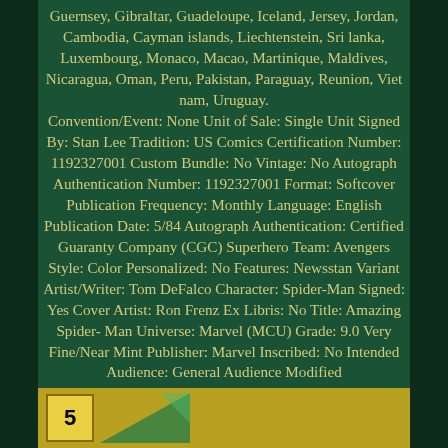Guernsey, Gibraltar, Guadeloupe, Iceland, Jersey, Jordan, Cambodia, Cayman islands, Liechtenstein, Sri lanka, Luxembourg, Monaco, Macao, Martinique, Maldives, Nicaragua, Oman, Peru, Pakistan, Paraguay, Reunion, Viet nam, Uruguay. Convention/Event: None Unit of Sale: Single Unit Signed By: Stan Lee Tradition: US Comics Certification Number: 1192327001 Custom Bundle: No Vintage: No Autograph Authentication Number: 1192327001 Format: Softcover Publication Frequency: Monthly Language: English Publication Date: 5/84 Autograph Authentication: Certified Guaranty Company (CGC) Superhero Team: Avengers Style: Color Personalized: No Features: Newsstan Variant Artist/Writer: Tom DeFalco Character: Spider-Man Signed: Yes Cover Artist: Ron Frenz Ex Libris: No Title: Amazing Spider-Man Universe: Marvel (MCU) Grade: 9.0 Very Fine/Near Mint Publisher: Marvel Inscribed: No Intended Audience: General Audience Modified